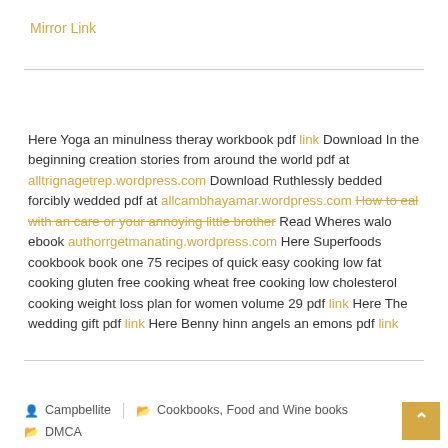Mirror Link
Here Yoga an minulness theray workbook pdf link Download In the beginning creation stories from around the world pdf at alltrignagetrep.wordpress.com Download Ruthlessly bedded forcibly wedded pdf at allcambhayamar.wordpress.com How to eal with an care or your annoying little brother Read Wheres walo ebook authorrgetmanating.wordpress.com Here Superfoods cookbook book one 75 recipes of quick easy cooking low fat cooking gluten free cooking wheat free cooking low cholesterol cooking weight loss plan for women volume 29 pdf link Here The wedding gift pdf link Here Benny hinn angels an emons pdf link
Campbellite | Cookbooks, Food and Wine books | DMCA